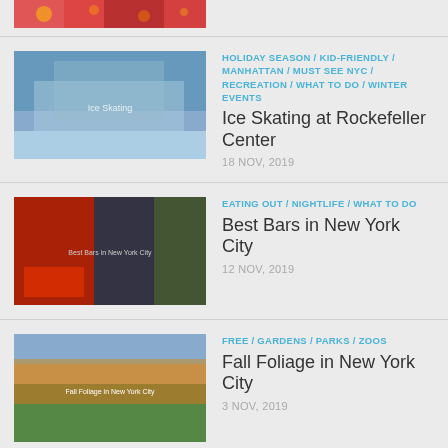[partial image top]
HOLIDAY SEASON / KID-FRIENDLY / MANHATTAN / MUST SEE NYC / RECREATION / WHAT TO DO / WINTER EVENTS
Ice Skating at Rockefeller Center
18 NOV, 2019
EATING OUT / NIGHTLIFE / WHAT TO DO
Best Bars in New York City
12 NOV, 2019
FREE / GARDENS / PARKS / ZOOS
Fall Foliage in New York City
3 NOV, 2019
MUST SEE NYC / TOURIST ATTRACTIONS
Top 10 Must See Attractions New York
27 FEB, 2017